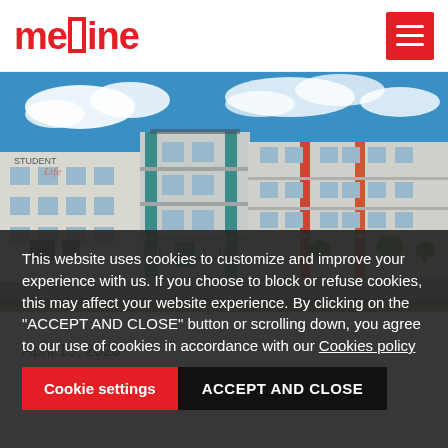medine [logo] | [menu button]
[Figure (photo): Exterior photo of a multi-storey student residential building complex (Student Life) under a blue sky with clouds. The buildings have white, teal, and red/orange facade panels with balconies.]
This website uses cookies to customize and improve your experience with us. If you choose to block or refuse cookies, this may affect your website experience. By clicking on the "ACCEPT AND CLOSE" button or scrolling down, you agree to our use of cookies in accordance with our Cookies policy
April 10, 2020
H... life experi...